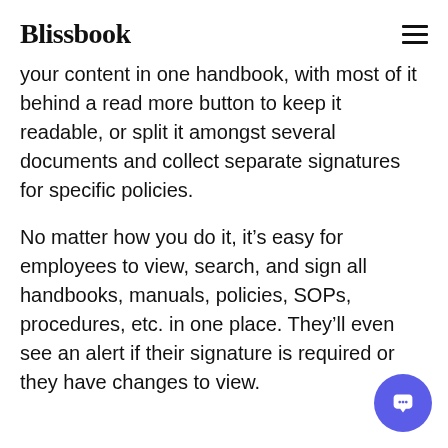Blissbook
your content in one handbook, with most of it behind a read more button to keep it readable, or split it amongst several documents and collect separate signatures for specific policies.
No matter how you do it, it’s easy for employees to view, search, and sign all handbooks, manuals, policies, SOPs, procedures, etc. in one place. They’ll even see an alert if their signature is required or they have changes to view.